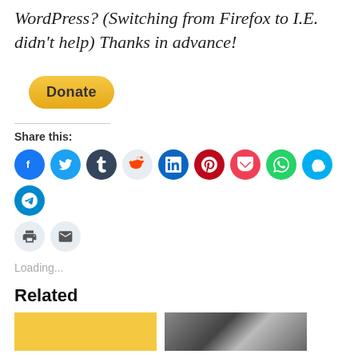WordPress? (Switching from Firefox to I.E. didn't help) Thanks in advance!
[Figure (other): PayPal Donate button - yellow rounded rectangle with bold 'Donate' text]
Share this:
[Figure (infographic): Row of social media icon circles: Facebook (blue), Twitter (blue), Tumblr (dark), Reddit (light), LinkedIn (blue), Pinterest (red), Pocket (red), WhatsApp (green), Skype (cyan), Telegram (blue); second row: Print (light), Email (light)]
Loading...
Related
[Figure (other): Two related article thumbnail images side by side: left is yellow/gold background, right is a photo of people]